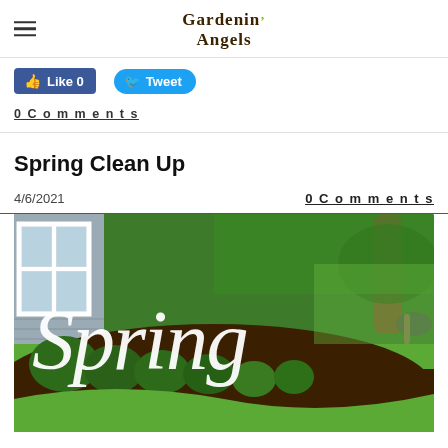Gardenin' Angels
[Figure (screenshot): Facebook Like button showing 'Like 0' and Twitter Tweet button]
0 Comments
Spring Clean Up
4/6/2021    0 Comments
[Figure (photo): A spring garden with green lawn, mulched flower beds, shrubs, a tree trunk, and a house exterior. Large white cursive text reads 'Spring' overlaid on the image.]